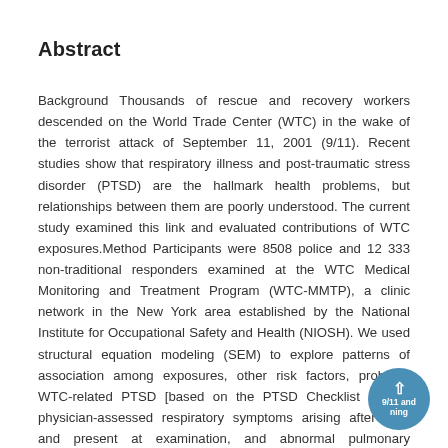Abstract
Background Thousands of rescue and recovery workers descended on the World Trade Center (WTC) in the wake of the terrorist attack of September 11, 2001 (9/11). Recent studies show that respiratory illness and post-traumatic stress disorder (PTSD) are the hallmark health problems, but relationships between them are poorly understood. The current study examined this link and evaluated contributions of WTC exposures.Method Participants were 8508 police and 12 333 non-traditional responders examined at the WTC Medical Monitoring and Treatment Program (WTC-MMTP), a clinic network in the New York area established by the National Institute for Occupational Safety and Health (NIOSH). We used structural equation modeling (SEM) to explore patterns of association among exposures, other risk factors, probable WTC-related PTSD [based on the PTSD Checklist (PCL)], physician-assessed respiratory symptoms arising after 9/11 and present at examination, and abnormal pulmonary functioning defined by low forced vital capacity (FVC).Results Fewer police